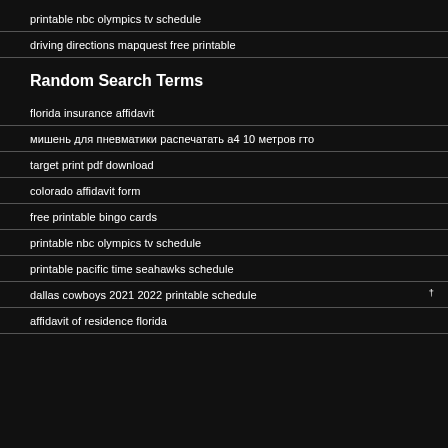printable nbc olympics tv schedule
driving directions mapquest free printable
Random Search Terms
florida insurance affidavit
мишень для пневматики распечатать а4 10 метров гто
target print pdf download
colorado affidavit form
free printable bingo cards
printable nbc olympics tv schedule
printable pacific time seahawks schedule
dallas cowboys 2021 2022 printable schedule
affidavit of residence florida